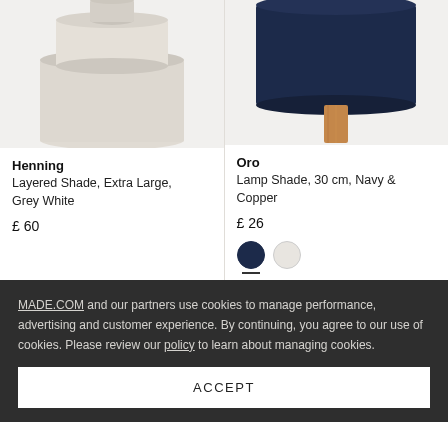[Figure (photo): Top portion of a layered grey-white pendant lamp shade on a light grey background]
[Figure (photo): Top portion of a navy blue drum lamp shade on a wooden tripod stand on a light grey background]
Henning
Layered Shade, Extra Large, Grey White
£ 60
Oro
Lamp Shade, 30 cm, Navy & Copper
£ 26
MADE.COM and our partners use cookies to manage performance, advertising and customer experience. By continuing, you agree to our use of cookies. Please review our policy to learn about managing cookies.
ACCEPT